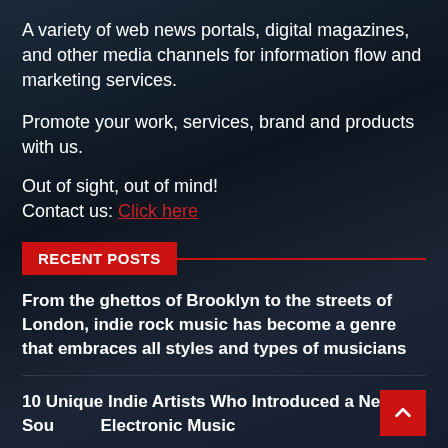A variety of web news portals, digital magazines, and other media channels for information flow and marketing services.
Promote your work, services, brand and products with us.
Out of sight, out of mind!
Contact us: Click here
RECENT POSTS
From the ghettos of Brooklyn to the streets of London, indie rock music has become a genre that embraces all styles and types of musicians
10 Unique Indie Artists Who Introduced a New Sound to Electronic Music
10 Indie Folk & Country Music Artists That Will Have